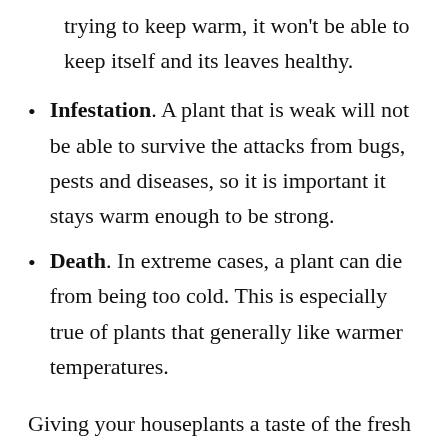trying to keep warm, it won't be able to keep itself and its leaves healthy.
Infestation. A plant that is weak will not be able to survive the attacks from bugs, pests and diseases, so it is important it stays warm enough to be strong.
Death. In extreme cases, a plant can die from being too cold. This is especially true of plants that generally like warmer temperatures.
Giving your houseplants a taste of the fresh air is a great thing, but you don't want to overdo it and let